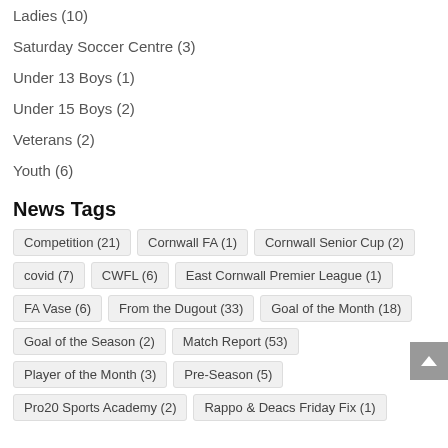Ladies (10)
Saturday Soccer Centre (3)
Under 13 Boys (1)
Under 15 Boys (2)
Veterans (2)
Youth (6)
News Tags
Competition (21)
Cornwall FA (1)
Cornwall Senior Cup (2)
covid (7)
CWFL (6)
East Cornwall Premier League (1)
FA Vase (6)
From the Dugout (33)
Goal of the Month (18)
Goal of the Season (2)
Match Report (53)
Player of the Month (3)
Pre-Season (5)
Pro20 Sports Academy (2)
Rappo & Deacs Friday Fix (1)